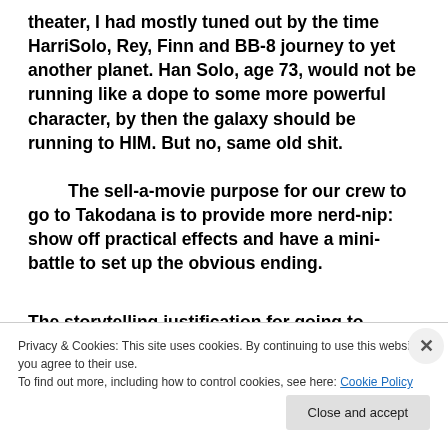theater, I had mostly tuned out by the time HarriSolo, Rey, Finn and BB-8 journey to yet another planet.  Han Solo, age 73, would not be running like a dope to some more powerful character, by then the galaxy should be running to HIM.   But no, same old shit.

The sell-a-movie purpose for our crew to go to Takodana is to provide more nerd-nip:  show off practical effects and have a mini-battle to set up the obvious ending.
The storytelling justification for going to Takodana...
Privacy & Cookies: This site uses cookies. By continuing to use this website, you agree to their use.
To find out more, including how to control cookies, see here: Cookie Policy